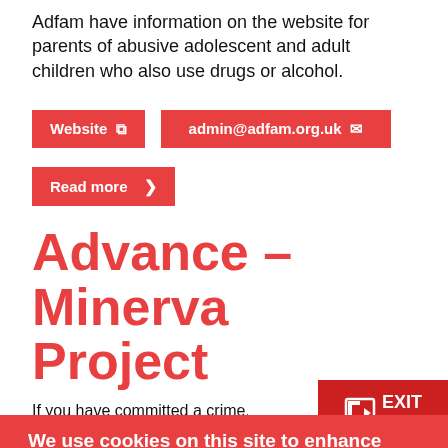Adfam have information on the website for parents of abusive adolescent and adult children who also use drugs or alcohol.
Website [icon]
admin@adfam.org.uk [icon]
Read more >
Advance – Minerva Project
If you have committed a crime, Advance provides all th…
[Figure (other): Red EXIT SITE button with arrow icon in top right]
We use cookies on this site to enhance your user experience
By clicking any link on this page you are giving your consent for us to set cookies.
OK, I agree
Give me more info